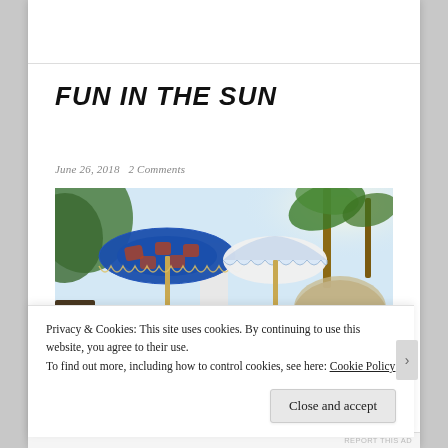FUN IN THE SUN
June 26, 2018   2 Comments
[Figure (photo): Outdoor beach/summer lounge scene with colorful patterned umbrellas (blue and white), blue cushions/poufs on the ground, candles, a small white ottoman/table, tropical plants and palm trees in the background, and a wicker dome structure on the right side.]
Privacy & Cookies: This site uses cookies. By continuing to use this website, you agree to their use.
To find out more, including how to control cookies, see here: Cookie Policy
Close and accept